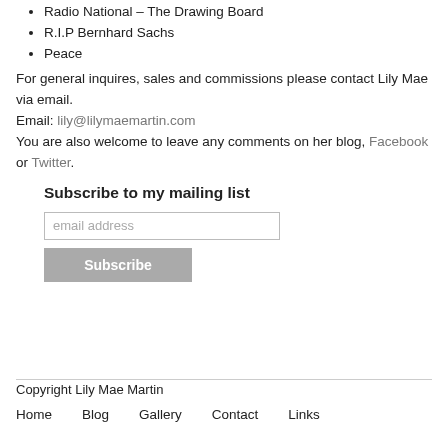Radio National – The Drawing Board
R.I.P Bernhard Sachs
Peace
For general inquires, sales and commissions please contact Lily Mae via email.
Email: lily@lilymaemartin.com
You are also welcome to leave any comments on her blog, Facebook or Twitter.
Subscribe to my mailing list
email address
Subscribe
Copyright Lily Mae Martin
Home   Blog   Gallery   Contact   Links